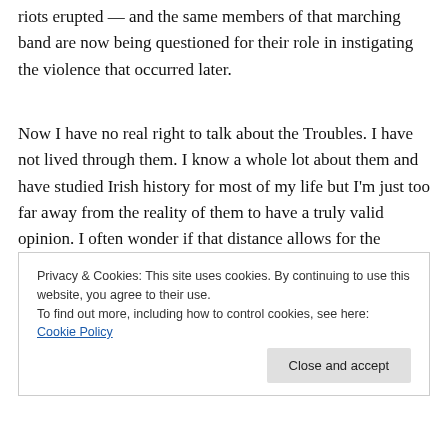riots erupted — and the same members of that marching band are now being questioned for their role in instigating the violence that occurred later.
Now I have no real right to talk about the Troubles. I have not lived through them. I know a whole lot about them and have studied Irish history for most of my life but I'm just too far away from the reality of them to have a truly valid opinion. I often wonder if that distance allows for the
Privacy & Cookies: This site uses cookies. By continuing to use this website, you agree to their use.
To find out more, including how to control cookies, see here: Cookie Policy